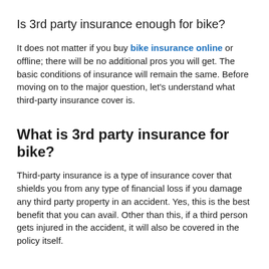Is 3rd party insurance enough for bike?
It does not matter if you buy bike insurance online or offline; there will be no additional pros you will get. The basic conditions of insurance will remain the same. Before moving on to the major question, let’s understand what third-party insurance cover is.
What is 3rd party insurance for bike?
Third-party insurance is a type of insurance cover that shields you from any type of financial loss if you damage any third party property in an accident. Yes, this is the best benefit that you can avail. Other than this, if a third person gets injured in the accident, it will also be covered in the policy itself.
The third person can be another driver or someone walking on the road.